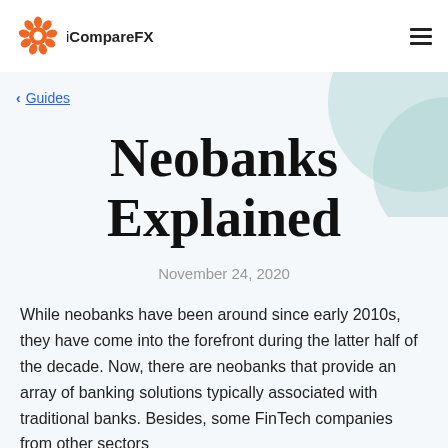iCompareFX
< Guides
Neobanks Explained
November 24, 2020
While neobanks have been around since early 2010s, they have come into the forefront during the latter half of the decade. Now, there are neobanks that provide an array of banking solutions typically associated with traditional banks. Besides, some FinTech companies from other sectors